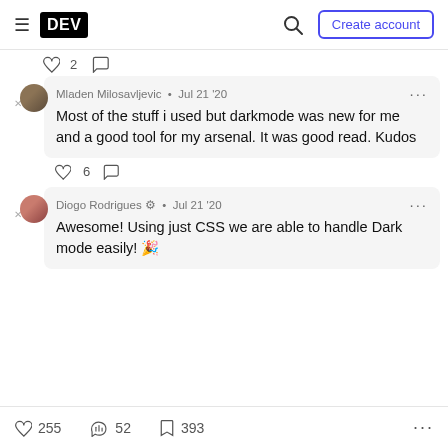DEV | Create account
2
Mladen Milosavljevic • Jul 21 '20
Most of the stuff i used but darkmode was new for me and a good tool for my arsenal. It was good read. Kudos
6
Diogo Rodrigues • Jul 21 '20
Awesome! Using just CSS we are able to handle Dark mode easily! 🎉
255  52  393